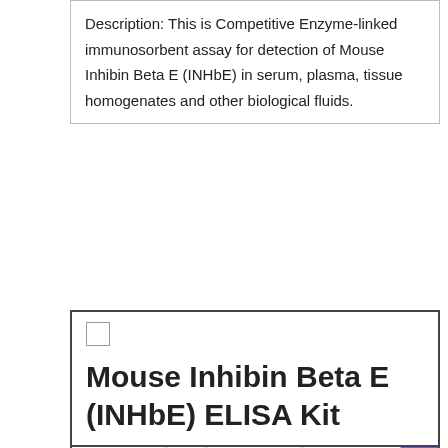Description: This is Competitive Enzyme-linked immunosorbent assay for detection of Mouse Inhibin Beta E (INHbE) in serum, plasma, tissue homogenates and other biological fluids.
| Mouse Inhibin Beta E (INHbE) ELISA Kit |
|  |  | EUR 4442.00 EUR | 10 plates of 96 wells 5 |  |